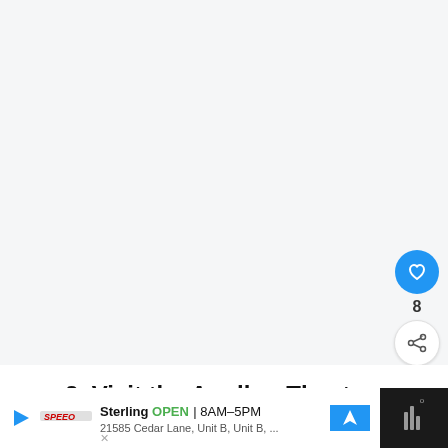[Figure (photo): Large mostly white/light gray area representing a photo placeholder or loaded image area for the Apollon Theatre article]
3. Visit the Apollon Theatre
[Figure (screenshot): UI overlay with heart/like button showing count of 8, share button, and a 'What's Next' panel showing a thumbnail of Ermoupolis with text 'Ermoupolis, the stylish...']
[Figure (infographic): Bottom advertisement bar: Sterling OPEN 8AM-5PM, 21585 Cedar Lane, Unit B, Unit B,...]